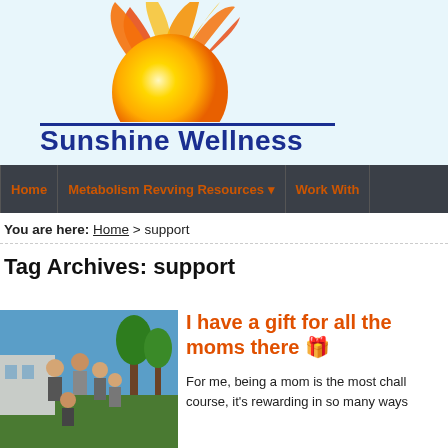[Figure (logo): Sunshine Wellness logo with sun graphic and site name in blue text]
Home | Metabolism Revving Resources | Work With
You are here: Home > support
Tag Archives: support
[Figure (photo): Family photo outdoors with trees and blue sky]
I have a gift for all the moms there 🎁
For me, being a mom is the most chall course, it's rewarding in so many ways